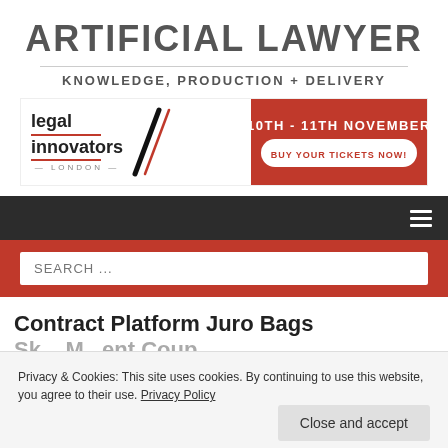ARTIFICIAL LAWYER
KNOWLEDGE, PRODUCTION + DELIVERY
[Figure (screenshot): Legal Innovators London banner advertisement with logo, diagonal slash graphic, red right panel showing '10TH - 11TH NOVEMBER' and 'BUY YOUR TICKETS NOW!' button]
[Figure (screenshot): Dark navigation bar with hamburger menu icon on right]
[Figure (screenshot): Red search bar with 'SEARCH ...' placeholder input]
Contract Platform Juro Bags
Sk... M... Coup
3rd October 2019  artificallawyer
Privacy & Cookies: This site uses cookies. By continuing to use this website, you agree to their use. Privacy Policy
Close and accept